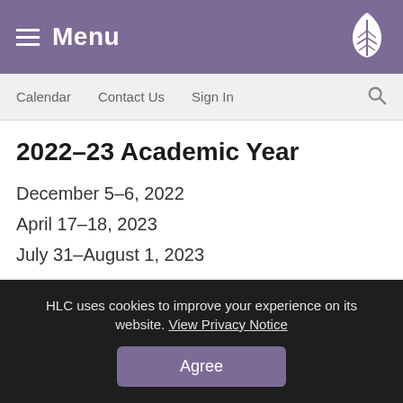Menu
Calendar   Contact Us   Sign In
2022–23 Academic Year
December 5–6, 2022
April 17–18, 2023
July 31–August 1, 2023
Appeals Body
HLC uses cookies to improve your experience on its website. View Privacy Notice
Agree